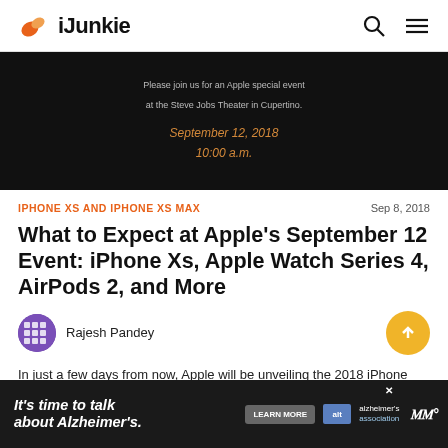iJunkie
[Figure (screenshot): Apple event invitation screenshot on black background: 'Please join us for an Apple special event at the Steve Jobs Theater in Cupertino. September 12, 2018 10:00 a.m.']
IPHONE XS AND IPHONE XS MAX
Sep 8, 2018
What to Expect at Apple's September 12 Event: iPhone Xs, Apple Watch Series 4, AirPods 2, and More
Rajesh Pandey
In just a few days from now, Apple will be unveiling the 2018 iPhone XS, the 6.5-inch iPhone XS Max, and the 6.1-inch budget LCD iPhone on September 12 at the
[Figure (infographic): Advertisement banner: It's time to talk about Alzheimer's. LEARN MORE. alzheimer's association logo.]